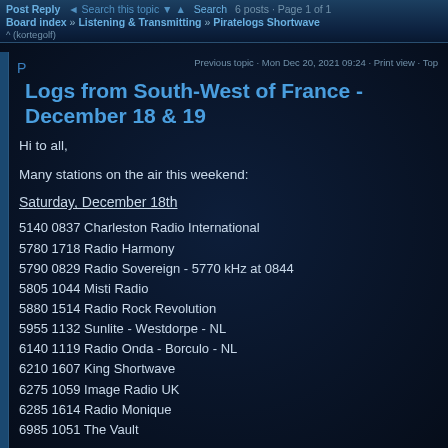Post Reply | Search this topic | Search | 6 posts · Page 1 of 1
Board index » Listening & Transmitting » Piratelogs Shortwave ^ (kortegolf)
Previous topic · Mon Dec 20, 2021 09:24 · Print view · Top
Logs from South-West of France - December 18 & 19
Hi to all,
Many stations on the air this weekend:
Saturday, December 18th
5140 0837 Charleston Radio International
5780 1718 Radio Harmony
5790 0829 Radio Sovereign - 5770 kHz at 0844
5805 1044 Misti Radio
5880 1514 Radio Rock Revolution
5955 1132 Sunlite - Westdorpe - NL
6140 1119 Radio Onda - Borculo - NL
6210 1607 King Shortwave
6275 1059 Image Radio UK
6285 1614 Radio Monique
6985 1051 The Vault
Sunday, December 19th